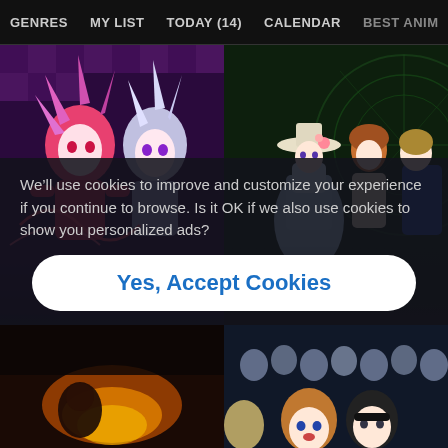GENRES  MY LIST  TODAY (14)  CALENDAR  BEST ANIM>
[Figure (screenshot): Anime streaming website screenshot showing navigation bar, two anime thumbnails (colorful anime characters), a cookie consent overlay, and partial bottom thumbnails]
We’ll use cookies to improve and customize your experience if you continue to browse. Is it OK if we also use cookies to show you personalized ads?
Yes, Accept Cookies